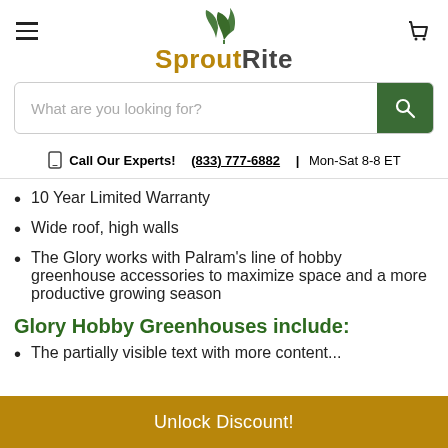[Figure (logo): SproutRite logo with green leaf icon and tan/dark text]
What are you looking for?
Call Our Experts! (833) 777-6882 | Mon-Sat 8-8 ET
10 Year Limited Warranty
Wide roof, high walls
The Glory works with Palram's line of hobby greenhouse accessories to maximize space and a more productive growing season
Glory Hobby Greenhouses include:
The partially visible text at bottom
Unlock Discount!